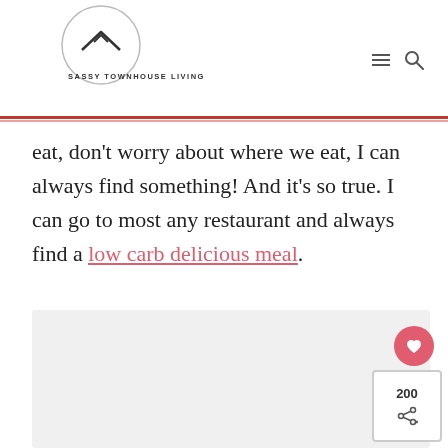SASSY TOWNHOUSE LIVING
eat, don't worry about where we eat, I can always find something! And it's so true. I can go to most any restaurant and always find a low carb delicious meal.
[Figure (photo): Light gray rectangular image placeholder area]